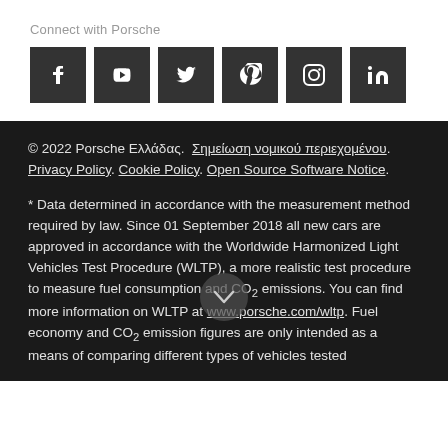Connect with Porsche
[Figure (infographic): Six social media icon buttons (Facebook, YouTube, Twitter, Pinterest, Instagram, LinkedIn) displayed as dark square tiles with white icons]
© 2022 Porsche Ελλάδας. Σημείωση νομικού περιεχομένου. Privacy Policy. Cookie Policy. Open Source Software Notice.
* Data determined in accordance with the measurement method required by law. Since 01 September 2018 all new cars are approved in accordance with the Worldwide Harmonized Light Vehicles Test Procedure (WLTP), a more realistic test procedure to measure fuel consumption and CO₂ emissions. You can find more information on WLTP at www.porsche.com/wltp. Fuel economy and CO₂ emission figures are only intended as a means of comparing different types of vehicles tested under the same standardised conditions with WLTP and…